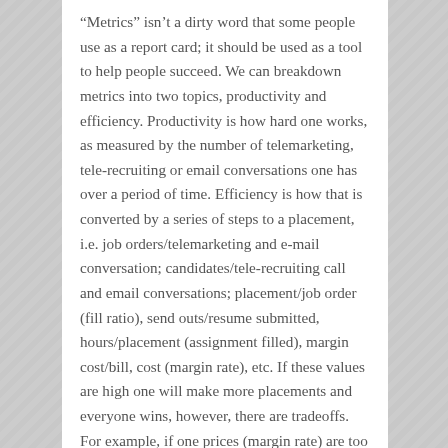“Metrics” isn’t a dirty word that some people use as a report card; it should be used as a tool to help people succeed. We can breakdown metrics into two topics, productivity and efficiency. Productivity is how hard one works, as measured by the number of telemarketing, tele-recruiting or email conversations one has over a period of time. Efficiency is how that is converted by a series of steps to a placement, i.e. job orders/telemarketing and e-mail conversation; candidates/tele-recruiting call and email conversations; placement/job order (fill ratio), send outs/resume submitted, hours/placement (assignment filled), margin cost/bill, cost (margin rate), etc. If these values are high one will make more placements and everyone wins, however, there are tradeoffs. For example, if one prices (margin rate) are too high their fill ratio will suffer and so will their margin cost and commissions. A profitability algorithm integrates the various term into how many